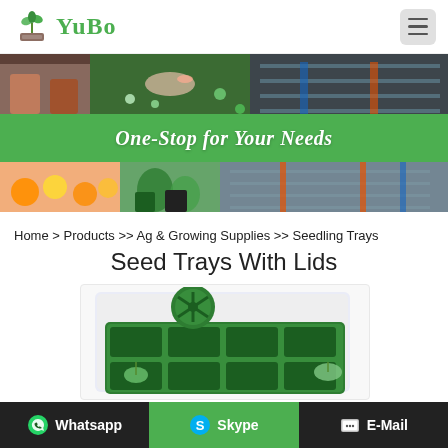[Figure (logo): YuBo company logo with green plant sprout icon and green text]
[Figure (photo): Hero banner with gardening photos and green band reading One-Stop for Your Needs]
Home > Products >> Ag & Growing Supplies >> Seedling Trays
Seed Trays With Lids
[Figure (photo): Green plastic seed tray with cell divisions and a round ventilation disc on top of a white lid]
Whatsapp   Skype   E-Mail